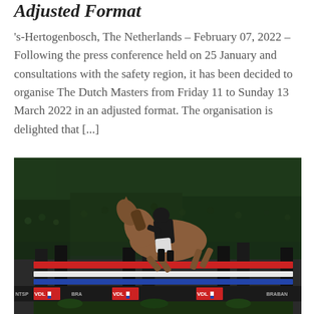Adjusted Format
's-Hertogenbosch, The Netherlands – February 07, 2022 – Following the press conference held on 25 January and consultations with the safety region, it has been decided to organise The Dutch Masters from Friday 11 to Sunday 13 March 2022 in an adjusted format. The organisation is delighted that [...]
[Figure (photo): A horse and rider in black outfit jumping over a barrier at an equestrian show. The arena is packed with spectators, green lighting in the background. VDL and Brabant sponsor banners are visible on the jump barriers.]